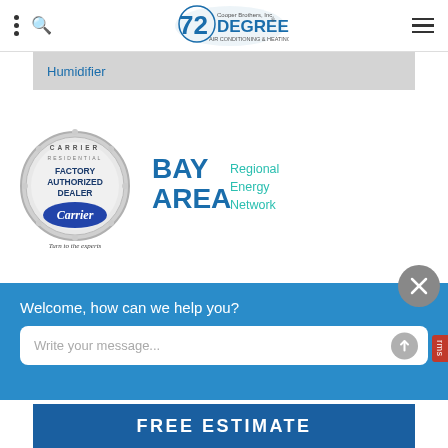72 Degrees Cooper Brothers, Inc. Air Conditioning & Heating
Humidifier
[Figure (logo): Carrier Factory Authorized Dealer badge with 'Turn to the experts' tagline]
[Figure (logo): BAY AREA Regional Energy Network logo]
Welcome, how can we help you?
Write your message...
FREE ESTIMATE